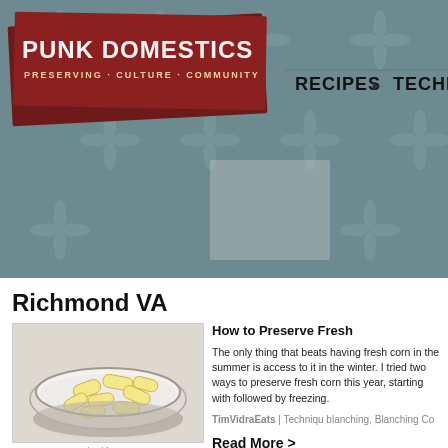[Figure (screenshot): Punk Domestics website header with dark teal damask patterned background, dark red torn-paper logo reading PUNK DOMESTICS - PRESERVING · CULTURE · COMMUNITY, and navigation links RECIPES and TECHNIQUES]
Richmond VA
[Figure (photo): Bowl of baby corn cobs in water, overhead shot on light background]
www.timvidraeats.com
How to Preserve Fresh
The only thing that beats having fresh corn in the summer is access to it in the winter. I tried two ways to preserve fresh corn this year, starting with followed by freezing.
TimVidraEats | Techniques | blanching, Blanching Co
Read More >